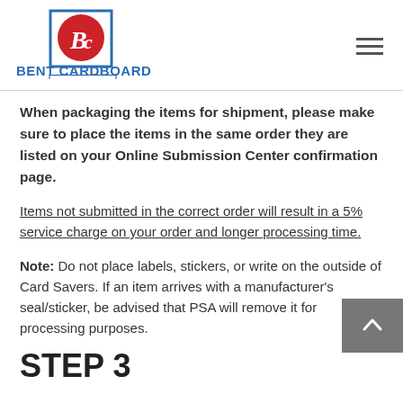[Figure (logo): Bent Cardboard Card Services logo — red circle with stylized BC letters, blue square border, text BENT CARDBOARD in blue bold caps, CARD SERVICES in red smaller caps]
When packaging the items for shipment, please make sure to place the items in the same order they are listed on your Online Submission Center confirmation page.
Items not submitted in the correct order will result in a 5% service charge on your order and longer processing time.
Note: Do not place labels, stickers, or write on the outside of Card Savers. If an item arrives with a manufacturer's seal/sticker, be advised that PSA will remove it for processing purposes.
STEP 3